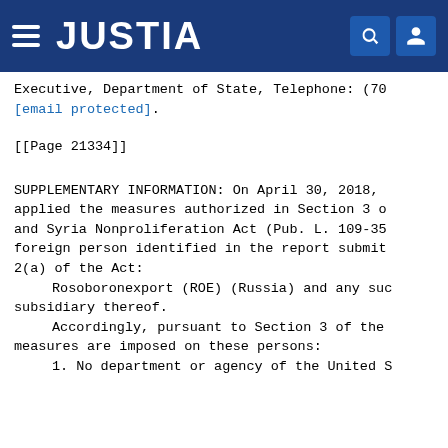JUSTIA
Executive, Department of State, Telephone: (70
[email protected].
[[Page 21334]]
SUPPLEMENTARY INFORMATION: On April 30, 2018, applied the measures authorized in Section 3 o and Syria Nonproliferation Act (Pub. L. 109-35 foreign person identified in the report submit 2(a) of the Act:
    Rosoboronexport (ROE) (Russia) and any suc subsidiary thereof.
    Accordingly, pursuant to Section 3 of the measures are imposed on these persons:
    1. No department or agency of the United S
1. No department or agency of the United S